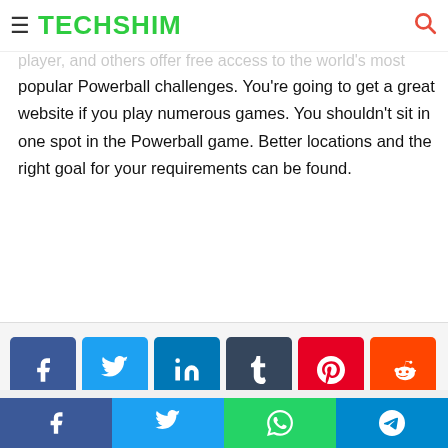≡ TECHSHIM 🔍
A licensed technician attribute to a professional Powerball player, and others offer free access to the world's most popular Powerball challenges. You're going to get a great website if you play numerous games. You shouldn't sit in one spot in the Powerball game. Better locations and the right goal for your requirements can be found.
[Figure (infographic): Social media share buttons: Facebook (blue), Twitter (light blue), LinkedIn (dark blue), Tumblr (dark slate), Pinterest (red), Reddit (orange-red), VK (steel blue), Email (dark gray), Print (dark gray)]
[Figure (photo): Bottom section with circular author avatar placeholder in gray]
Sticky bottom share bar with Facebook, Twitter, WhatsApp, Telegram icons